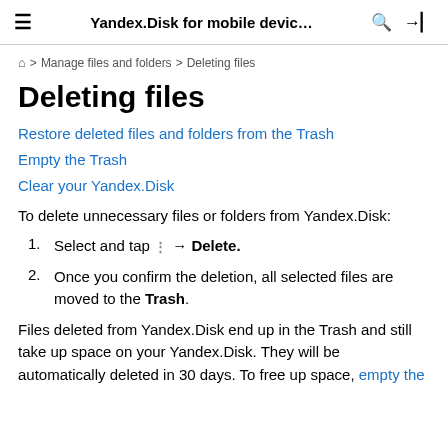Yandex.Disk for mobile devic…
⌂ > Manage files and folders > Deleting files
Deleting files
Restore deleted files and folders from the Trash
Empty the Trash
Clear your Yandex.Disk
To delete unnecessary files or folders from Yandex.Disk:
Select and tap ⋮ → Delete.
Once you confirm the deletion, all selected files are moved to the Trash.
Files deleted from Yandex.Disk end up in the Trash and still take up space on your Yandex.Disk. They will be automatically deleted in 30 days. To free up space, empty the